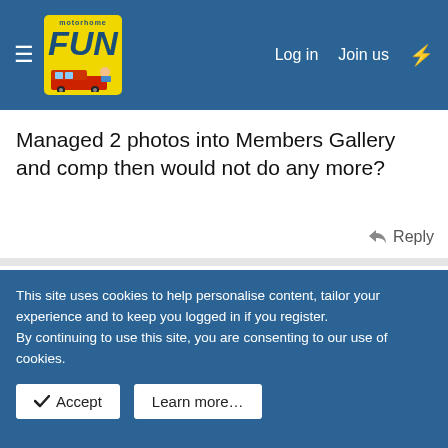Motorhome Fun — Log in | Join us
Managed 2 photos into Members Gallery and comp then would not do any more?
Reply
pappajohn
LIFE MEMBER
Mar 8, 2008   #14
bugger!!!!!!!!!!!!!forgot to re-size it. i'll try again.
This site uses cookies to help personalise content, tailor your experience and to keep you logged in if you register.
By continuing to use this site, you are consenting to our use of cookies.
Accept   Learn more…